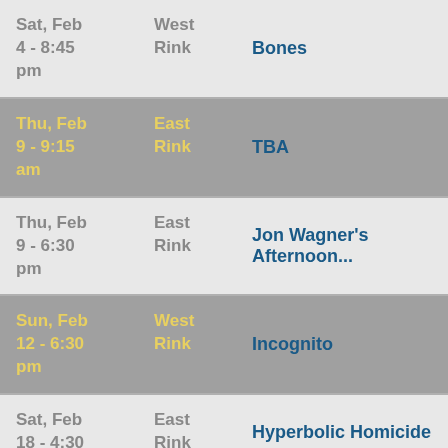| Date | Rink | Team |
| --- | --- | --- |
| Sat, Feb 4 - 8:45 pm | West Rink | Bones |
| Thu, Feb 9 - 9:15 am | East Rink | TBA |
| Thu, Feb 9 - 6:30 pm | East Rink | Jon Wagner's Afternoon... |
| Sun, Feb 12 - 6:30 pm | West Rink | Incognito |
| Sat, Feb 18 - 4:30 | East Rink | Hyperbolic Homicide |